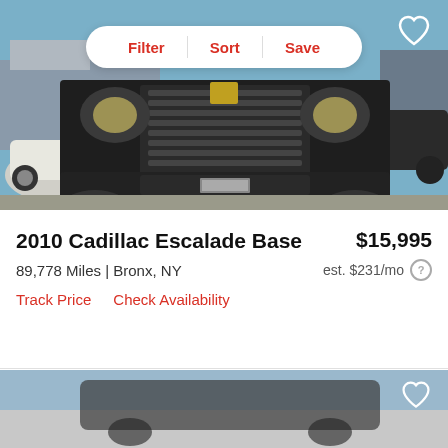[Figure (photo): Front view of a dark/black 2010 Cadillac Escalade SUV in a car dealership lot. Other cars visible in background including a white vehicle. Dealership signage partially visible.]
Filter  Sort  Save
Hot Car
2010 Cadillac Escalade Base
$15,995
89,778 Miles | Bronx, NY
est. $231/mo ?
Track Price   Check Availability
[Figure (photo): Partial view of a second car listing, showing top portion of another vehicle. Image is partially loaded with gray placeholder area.]